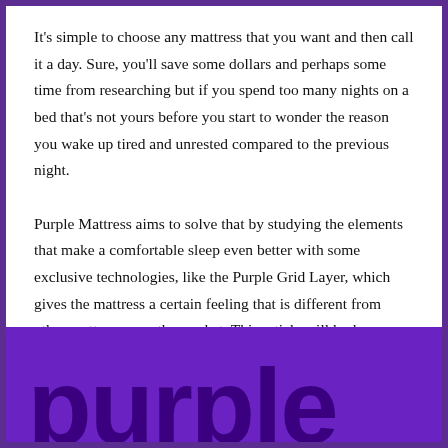It's simple to choose any mattress that you want and then call it a day. Sure, you'll save some dollars and perhaps some time from researching but if you spend too many nights on a bed that's not yours before you start to wonder the reason you wake up tired and unrested compared to the previous night.

Purple Mattress aims to solve that by studying the elements that make a comfortable sleep even better with some exclusive technologies, like the Purple Grid Layer, which gives the mattress a certain feeling that is different from other mattresses on the market. This article will look over whether Purple Mattress is a good choice for your next mattress purchase.
[Figure (logo): Purple brand logo — the word 'purple' in large bold dark purple letters on a medium purple background, partially cropped at bottom of page.]